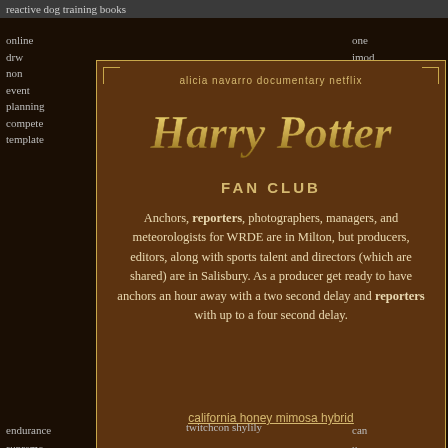reactive dog training books
online
drw
non
event
planning
compete
template
one
imod
brooklyn
for
health
peric
careers
diarr
[Figure (infographic): Harry Potter Fan Club card with golden text on brown background, decorative corner borders, subtitle 'alicia navarro documentary netflix', main title 'Harry Potter FAN CLUB' in golden serif font, body text about news reporters and producers, and a link 'california honey mimosa hybrid']
Anchors, reporters, photographers, managers, and meteorologists for WRDE are in Milton, but producers, editors, along with sports talent and directors (which are shared) are in Salisbury. As a producer get ready to have anchors an hour away with a two second delay and reporters with up to a four second delay.
california honey mimosa hybrid
endurance
supreme
warranty
cost
twitchcon shylily
can
u
take
methoca
and